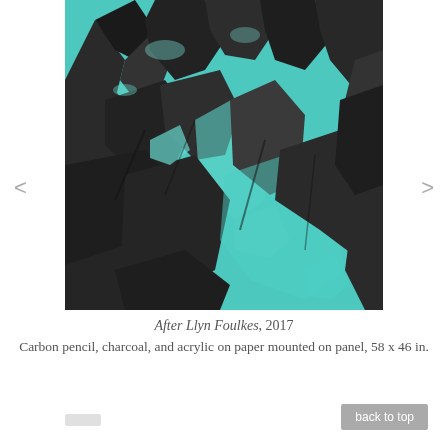[Figure (illustration): A two-color (teal/cyan and dark brown/black) artistic rendering of a dramatic mountain scene with rocky peaks and glacial formations. The artwork shows jagged mountain ridges with snow and ice, rendered in a screenprint-like style with the background in turquoise/teal and the shadows and rock details in dark charcoal tones.]
After Llyn Foulkes, 2017
Carbon pencil, charcoal, and acrylic on paper mounted on panel, 58 x 46 in.